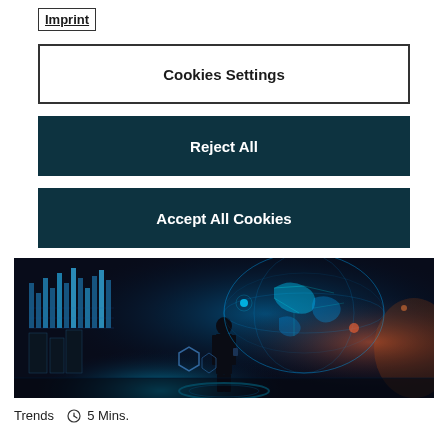Imprint
Cookies Settings
Reject All
Accept All Cookies
[Figure (photo): Person silhouetted against a glowing digital globe and holographic data displays in a futuristic tech environment with blue and orange lighting]
Trends  5 Mins.